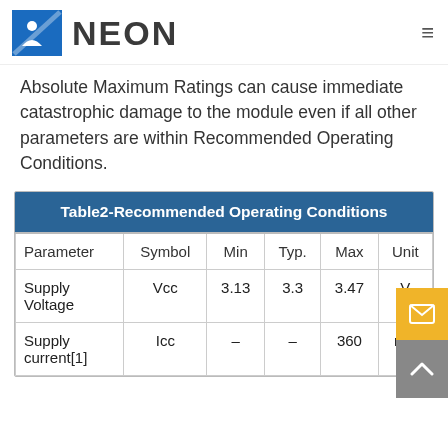NEON
Absolute Maximum Ratings can cause immediate catastrophic damage to the module even if all other parameters are within Recommended Operating Conditions.
| Parameter | Symbol | Min | Typ. | Max | Unit |
| --- | --- | --- | --- | --- | --- |
| Supply Voltage | Vcc | 3.13 | 3.3 | 3.47 | V |
| Supply current[1] | Icc | – | – | 360 | mA |